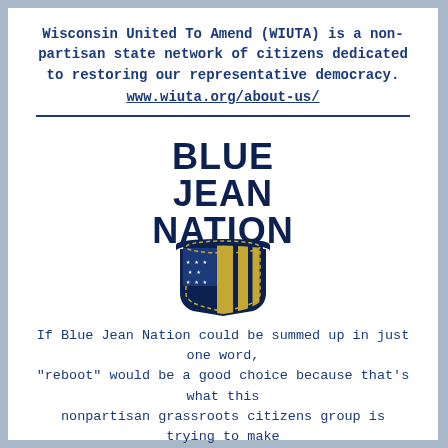Wisconsin United To Amend (WIUTA) is a non-partisan state network of citizens dedicated to restoring our representative democracy. www.wiuta.org/about-us/
[Figure (logo): Blue Jean Nation logo: bold dark navy text reading BLUE JEAN NATION above a shield/pocket badge graphic with navy and gold diagonal stripes and stars, stitched border.]
If Blue Jean Nation could be summed up in just one word, "reboot" would be a good choice because that's what this nonpartisan grassroots citizens group is trying to make happen in our political system.